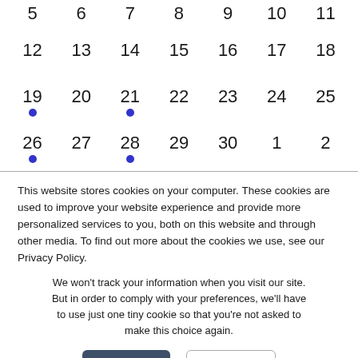[Figure (other): Calendar grid showing dates 5-11 (partial top row), 12-18, 19-25 (with blue dots on 19, 21), and 26-2 (with blue dots on 26, 28). Some dates (1, 2, 30) are from adjacent months.]
This website stores cookies on your computer. These cookies are used to improve your website experience and provide more personalized services to you, both on this website and through other media. To find out more about the cookies we use, see our Privacy Policy.
We won't track your information when you visit our site. But in order to comply with your preferences, we'll have to use just one tiny cookie so that you're not asked to make this choice again.
Accept
Decline